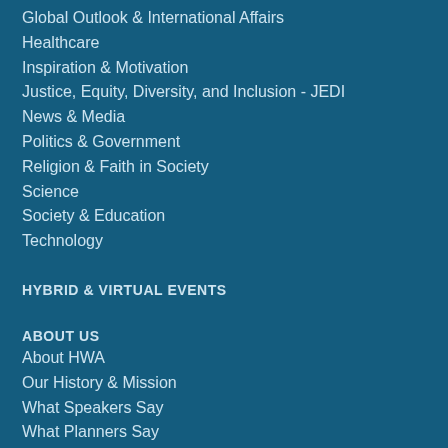Global Outlook & International Affairs
Healthcare
Inspiration & Motivation
Justice, Equity, Diversity, and Inclusion - JEDI
News & Media
Politics & Government
Religion & Faith in Society
Science
Society & Education
Technology
HYBRID & VIRTUAL EVENTS
ABOUT US
About HWA
Our History & Mission
What Speakers Say
What Planners Say
Prospective Speakers
How to Book a Speaker
Career Opportunities
PRIVACY POLICY